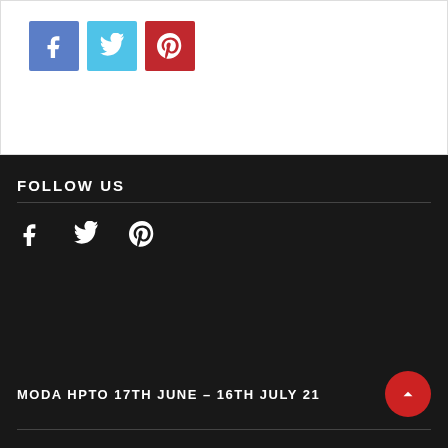[Figure (other): Social share buttons: Facebook (blue), Twitter (cyan), Pinterest (red) with white icons]
FOLLOW US
[Figure (other): Footer social media icons: Facebook, Twitter, Pinterest in white]
MODA HPTO 17TH JUNE – 16TH JULY 21